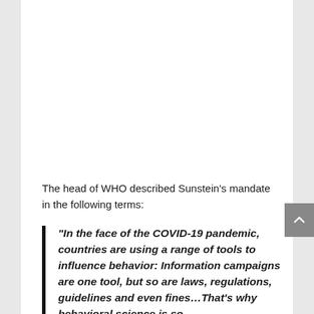The head of WHO described Sunstein's mandate in the following terms:
“In the face of the COVID-19 pandemic, countries are using a range of tools to influence behavior: Information campaigns are one tool, but so are laws, regulations, guidelines and even fines…That’s why behavioral science is so